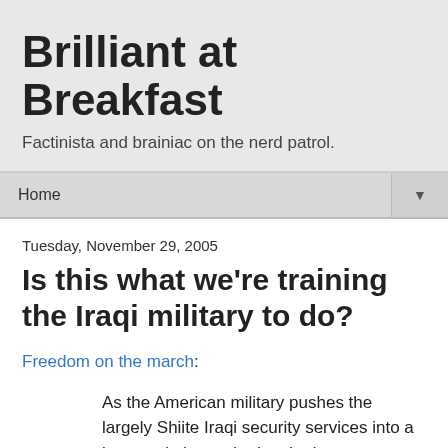Brilliant at Breakfast
Factinista and brainiac on the nerd patrol.
Home ▼
Tuesday, November 29, 2005
Is this what we're training the Iraqi military to do?
Freedom on the march:
As the American military pushes the largely Shiite Iraqi security services into a larger role in combating the insurgency, evidence has begun to mount suggesting that the Iraqi forces are carrying out executions in predominantly Sunni